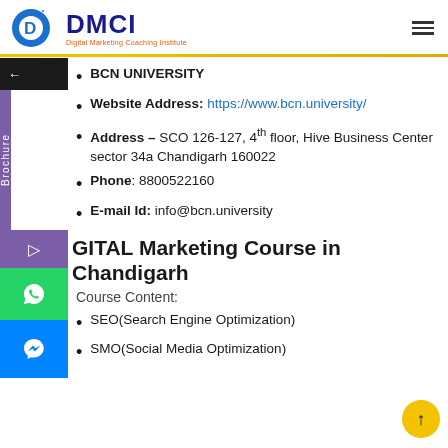[Figure (logo): DMCI Digital Marketing Coaching Institute logo with circular D icon and blue DMCI text]
[Figure (infographic): Hamburger menu icon (three horizontal lines) in top right corner]
[Figure (infographic): Left sidebar with back arrow (black), Brochure label (purple), arrow icon (purple), WhatsApp icon (green), Messenger icon (blue)]
BCN UNIVERSITY
Website Address: https://www.bcn.university/
Address – SCO 126-127, 4th floor, Hive Business Center sector 34a Chandigarh 160022
Phone: 8800522160
E-mail Id: info@bcn.university
DIGITAL Marketing Course in Chandigarh
Course Content:
SEO(Search Engine Optimization)
SMO(Social Media Optimization)